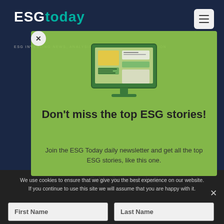[Figure (screenshot): ESG Today website screenshot showing the header with 'ESG today' logo in white and teal, a hamburger menu icon, and tagline 'ESG INVESTING NEWS, ANALYSIS, RESEARCH AND INFORMATION']
[Figure (screenshot): Green modal popup overlay with a monitor/computer illustration showing a newsletter/document graphic, headline 'Don't miss the top ESG stories!', body text 'Join the ESG Today daily newsletter and get all the top ESG stories, like this one. Subscribe now below!', and a close X button]
Don't miss the top ESG stories!
Join the ESG Today daily newsletter and get all the top ESG stories, like this one.
Subscribe now below!
We use cookies to ensure that we give you the best experience on our website. If you continue to use this site we will assume that you are happy with it.
First Name
Last Name